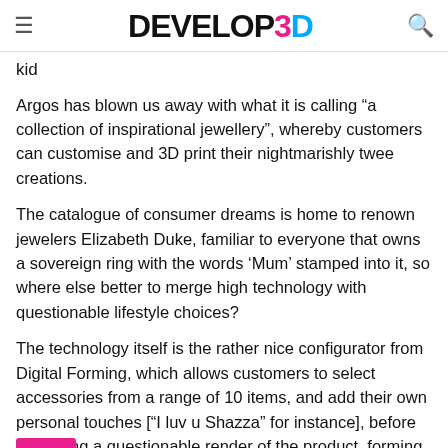DEVELOP3D
kid
Argos has blown us away with what it is calling “a collection of inspirational jewellery”, whereby customers can customise and 3D print their nightmarishly twee creations.
The catalogue of consumer dreams is home to renown jewelers Elizabeth Duke, familiar to everyone that owns a sovereign ring with the words ‘Mum’ stamped into it, so where else better to merge high technology with questionable lifestyle choices?
The technology itself is the rather nice configurator from Digital Forming, which allows customers to select accessories from a range of 10 items, and add their own personal touches [“I luv u Shazza” for instance], before producing a questionable render of the product, forming the front end of the retail experience.